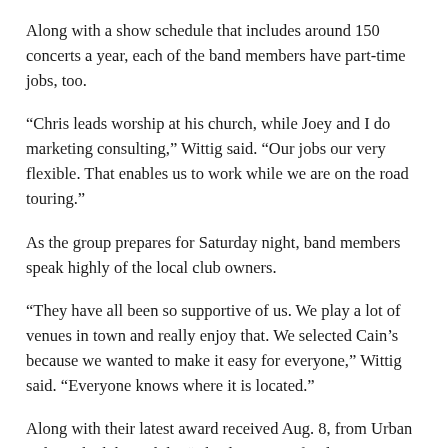Along with a show schedule that includes around 150 concerts a year, each of the band members have part-time jobs, too.
“Chris leads worship at his church, while Joey and I do marketing consulting,” Wittig said. “Our jobs our very flexible. That enables us to work while we are on the road touring.”
As the group prepares for Saturday night, band members speak highly of the local club owners.
“They have all been so supportive of us. We play a lot of venues in town and really enjoy that. We selected Cain’s because we wanted to make it easy for everyone,” Wittig said. “Everyone knows where it is located.”
Along with their latest award received Aug. 8, from Urban Tulsa, which hosted the “Absolute Best of Tulsa Music…